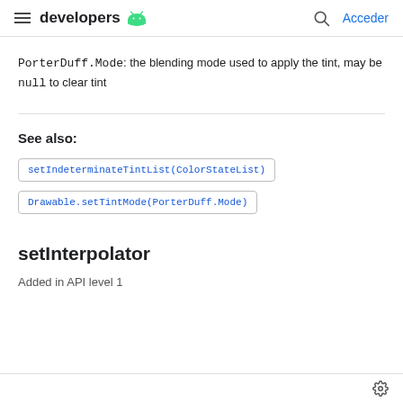developers [Android logo] | Acceder
PorterDuff.Mode: the blending mode used to apply the tint, may be null to clear tint
See also:
setIndeterminateTintList(ColorStateList)
Drawable.setTintMode(PorterDuff.Mode)
setInterpolator
Added in API level 1